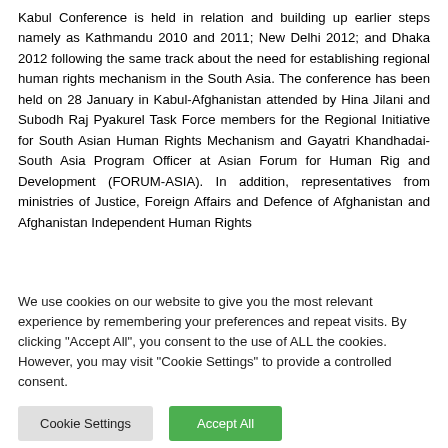Kabul Conference is held in relation and building up earlier steps namely as Kathmandu 2010 and 2011; New Delhi 2012; and Dhaka 2012 following the same track about the need for establishing regional human rights mechanism in the South Asia. The conference has been held on 28 January in Kabul-Afghanistan attended by Hina Jilani and Subodh Raj Pyakurel Task Force members for the Regional Initiative for South Asian Human Rights Mechanism and Gayatri Khandhadai-South Asia Program Officer at Asian Forum for Human Rig and Development (FORUM-ASIA). In addition, representatives from ministries of Justice, Foreign Affairs and Defence of Afghanistan and Afghanistan Independent Human Rights...
We use cookies on our website to give you the most relevant experience by remembering your preferences and repeat visits. By clicking "Accept All", you consent to the use of ALL the cookies. However, you may visit "Cookie Settings" to provide a controlled consent.